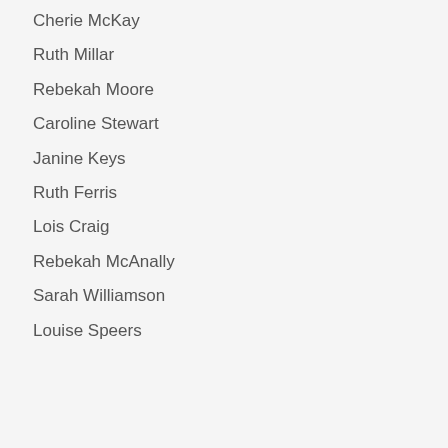Cherie McKay
Ruth Millar
Rebekah Moore
Caroline Stewart
Janine Keys
Ruth Ferris
Lois Craig
Rebekah McAnally
Sarah Williamson
Louise Speers